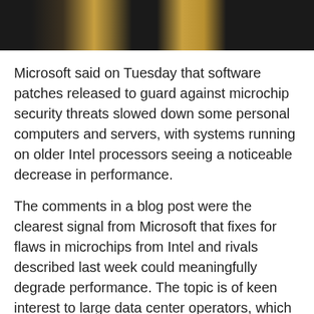[Figure (photo): Dark photograph banner showing blurry warm-toned light sources against a black background]
Microsoft said on Tuesday that software patches released to guard against microchip security threats slowed down some personal computers and servers, with systems running on older Intel processors seeing a noticeable decrease in performance.
The comments in a blog post were the clearest signal from Microsoft that fixes for flaws in microchips from Intel and rivals described last week could meaningfully degrade performance. The topic is of keen interest to large data center operators, which could incur significant cost increases if computers slow down.